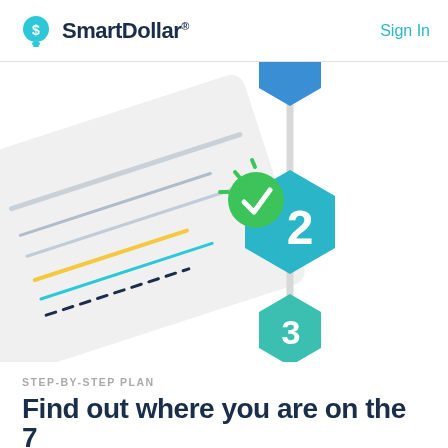SmartDollar® — Sign In
[Figure (illustration): Illustration of a step-by-step plan UI: left side shows angled lines/document preview in light gray, right side shows a vertical connector line with hexagonal step badges: step 2 (large teal hexagon with green checkmark circle overlay and spark/star accents indicating completed), step 3 (smaller teal-green hexagon below), top partial blue hexagon visible]
STEP-BY-STEP PLAN
Find out where you are on the 7